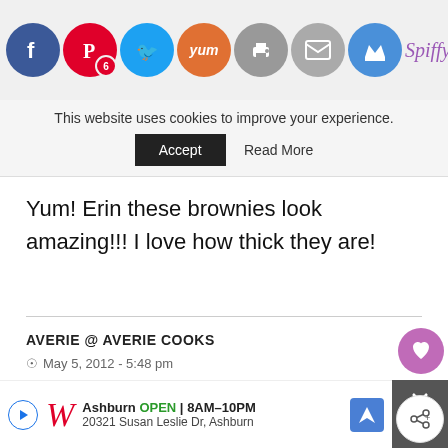[Figure (screenshot): Social media sharing icons: Facebook (blue), Pinterest (red, badge 6), Twitter (blue), Yummly (orange), Print (grey), Email (grey), Crown (blue)]
[Figure (logo): Spiffy Cookie logo with cookie mascot graphic]
This website uses cookies to improve your experience.
Accept   Read More
Yum! Erin these brownies look amazing!!! I love how thick they are!
AVERIE @ AVERIE COOKS
May 5, 2012 - 5:48 pm
They look fabulous! And I've wanted to make my own Dulce de Leche with the crockpot but have been too scared I was going to explode the ca...
[Figure (infographic): What's Next panel: thumbnail of Chicken Gnocchi Soup with orange arrow label]
[Figure (infographic): Walgreens advertisement: Ashburn OPEN 8AM-10PM, 20321 Susan Leslie Dr, Ashburn]